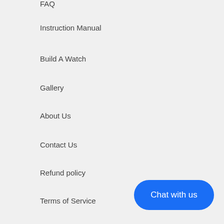FAQ
Instruction Manual
Build A Watch
Gallery
About Us
Contact Us
Refund policy
Terms of Service
Chat with us